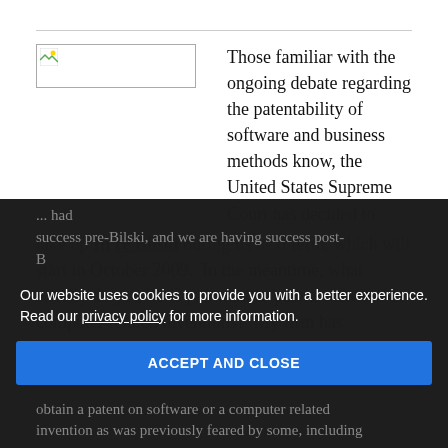[Figure (photo): Broken image placeholder in top-left column]
Those familiar with the ongoing debate regarding the patentability of software and business methods know, the United States Supreme Court has decided to take up In re Bilski during its next term, which will start in October 2009. In the meantime, what exactly do you do if you want to patent software or computer related inventions? My firm has developed a specialty ... had success pre-Bilski, and we are having success post-Bilski ... obtain a patent on software or a computer related invention as was previously feared by some, including
Our website uses cookies to provide you with a better experience. Read our privacy policy for more information.
ACCEPT AND CLOSE